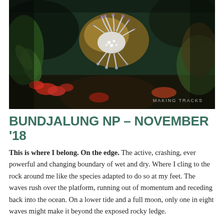[Figure (photo): Underwater/rock pool photograph showing a sea anemone or nudibranch with white tentacles and purple-tipped appendages, surrounded by colorful marine life including red crabs and green algae on rocks. Watermark 'MAKING TRACKS' in bottom right.]
BUNDJALUNG NP – NOVEMBER '18
This is where I belong. On the edge. The active, crashing, ever powerful and changing boundary of wet and dry. Where I cling to the rock around me like the species adapted to do so at my feet. The waves rush over the platform, running out of momentum and receding back into the ocean. On a lower tide and a full moon, only one in eight waves might make it beyond the exposed rocky ledge.